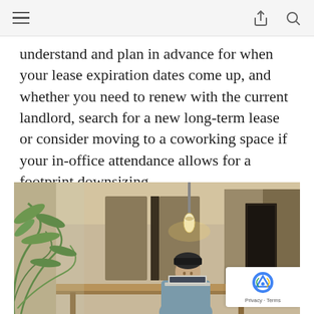[navigation bar with hamburger menu, share icon, search icon]
understand and plan in advance for when your lease expiration dates come up, and whether you need to renew with the current landlord, search for a new long-term lease or consider moving to a coworking space if your in-office attendance allows for a footprint downsizing.
[Figure (photo): A person wearing a dark beanie hat working on a laptop at a wooden desk in a modern coworking space. The space features glass partitions, warm lighting, brass pendant lamps, and tropical plants in the foreground.]